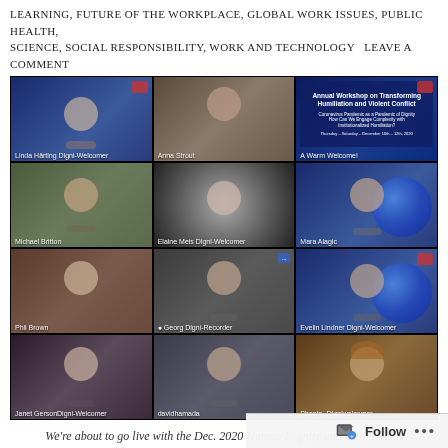LEARNING, FUTURE OF THE WORKPLACE, GLOBAL WORK ISSUES, PUBLIC HEALTH, SCIENCE, SOCIAL RESPONSIBILITY, WORK AND TECHNOLOGY   Leave a comment
[Figure (photo): A 3x4 grid of video conference participants in a virtual meeting. Participants include: Linda Härting Digni-Welcomer, Anna Strout, A Warm Welcome! (slide), Michael Britton, Elaine Meis Digni-Welcomer, Mara Alagic, Phil Brown, Georg Digni-Recorder, Evelin Lindner Digni-Welcomer, Janet Gerson Digni-Welcomer, davidhamada, Phante- Digni-Welcomer. Many participants are making a hand gesture.]
We're about to go live with the Dec. 2020 Human Dignity and Humiliation Studies workshop (https://www.humiliationstudies.org)
Last May (link here), I speculated about the future of academic and
Follow ...